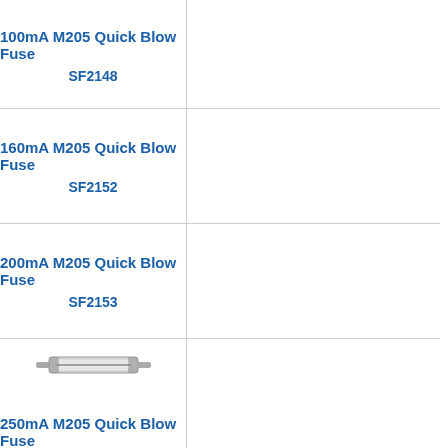| Product | Image |
| --- | --- |
| 100mA M205 Quick Blow Fuse
SF2148 |  |
| 160mA M205 Quick Blow Fuse
SF2152 |  |
| 200mA M205 Quick Blow Fuse
SF2153 |  |
| 250mA M205 Quick Blow Fuse
SF2154 | fuse image |
| 315mA M205 Quick Blow Fuse
SF2155 |  |